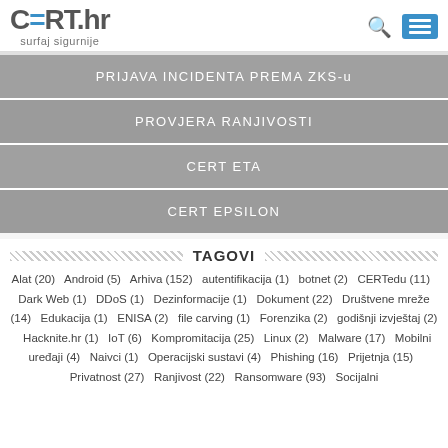CERT.hr surfaj sigurnije
PRIJAVA INCIDENTA PREMA ZKS-u
PROVJERA RANJIVOSTI
CERT ETA
CERT EPSILON
TAGOVI
Alat (20)  Android (5)  Arhiva (152)  autentifikacija (1)  botnet (2)  CERTedu (11)  Dark Web (1)  DDoS (1)  Dezinformacije (1)  Dokument (22)  Društvene mreže (14)  Edukacija (1)  ENISA (2)  file carving (1)  Forenzika (2)  godišnji izvještaj (2)  Hacknite.hr (1)  IoT (6)  Kompromitacija (25)  Linux (2)  Malware (17)  Mobilni uređaji (4)  Naivci (1)  Operacijski sustavi (4)  Phishing (16)  Prijetnja (15)  Privatnost (27)  Ranjivost (22)  Ransomware (93)  Socijalni